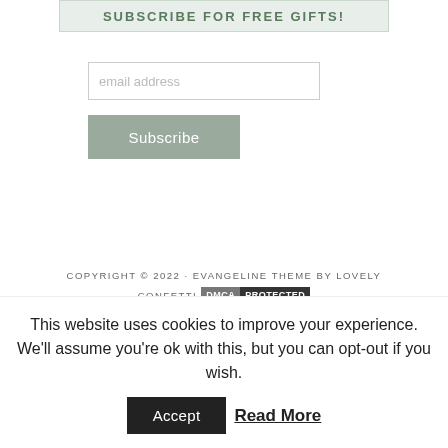SUBSCRIBE FOR FREE GIFTS!
email address
Subscribe
COPYRIGHT © 2022 · EVANGELINE THEME BY LOVELY CONFETTI DMCA PROTECTED COPYRIGHT © 2022 · EVANGELINE THEME ON GENESIS
This website uses cookies to improve your experience. We'll assume you're ok with this, but you can opt-out if you wish.
Accept Read More